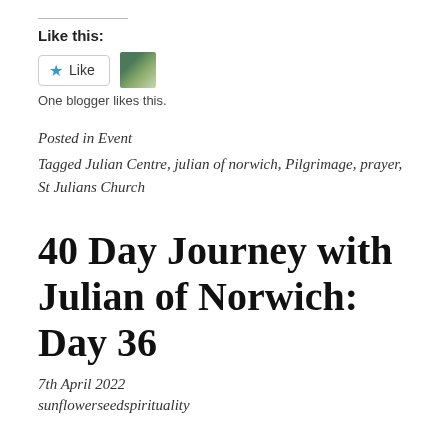Like this:
[Figure (other): Like button with star icon and a blogger avatar thumbnail]
One blogger likes this.
Posted in Event
Tagged Julian Centre, julian of norwich, Pilgrimage, prayer, St Julians Church
40 Day Journey with Julian of Norwich: Day 36
7th April 2022
sunflowerseedspirituality